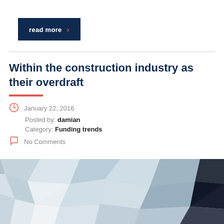read more ›
Within the construction industry as their overdraft
January 22, 2016
Posted by: damian
Category: Funding trends
No Comments
[Figure (illustration): Abstract low-poly geometric background image with muted blue, grey, and dark polygon shapes]